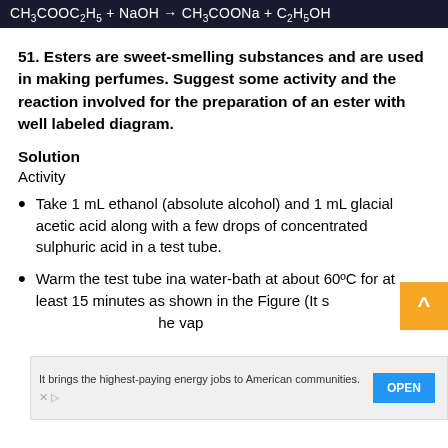51. Esters are sweet-smelling substances and are used in making perfumes. Suggest some activity and the reaction involved for the preparation of an ester with well labeled diagram.
Solution
Activity
Take 1 mL ethanol (absolute alcohol) and 1 mL glacial acetic acid along with a few drops of concentrated sulphuric acid in a test tube.
Warm the test tube ina water-bath at about 60ºC for at least 15 minutes as shown in the Figure (It s... he vap...